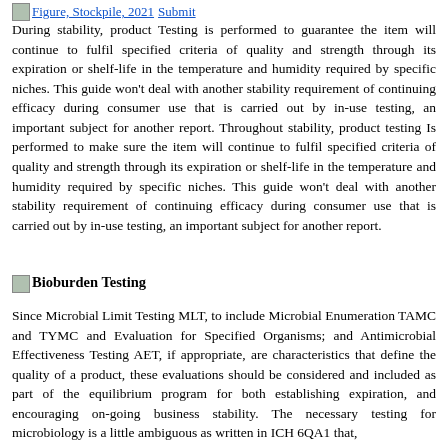Figure, Stockpile, 2021 Submit
During stability, product Testing is performed to guarantee the item will continue to fulfil specified criteria of quality and strength through its expiration or shelf-life in the temperature and humidity required by specific niches. This guide won’t deal with another stability requirement of continuing efficacy during consumer use that is carried out by in-use testing, an important subject for another report. Throughout stability, product testing Is performed to make sure the item will continue to fulfil specified criteria of quality and strength through its expiration or shelf-life in the temperature and humidity required by specific niches. This guide won’t deal with another stability requirement of continuing efficacy during consumer use that is carried out by in-use testing, an important subject for another report.
Bioburden Testing
Since Microbial Limit Testing MLT, to include Microbial Enumeration TAMC and TYMC and Evaluation for Specified Organisms; and Antimicrobial Effectiveness Testing AET, if appropriate, are characteristics that define the quality of a product, these evaluations should be considered and included as part of the equilibrium program for both establishing expiration, and encouraging on-going business stability. The necessary testing for microbiology is a little ambiguous as written in ICH 6QA1 that,